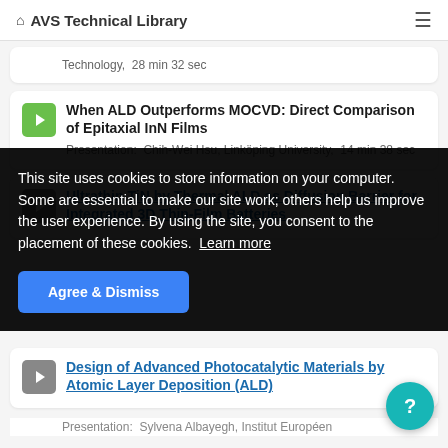AVS Technical Library
Technology, 28 min 32 sec
When ALD Outperforms MOCVD: Direct Comparison of Epitaxial InN Films
Presentation: Chih-Wei Hsu, Linköping University, 14 min 38 sec
Ultrathin TiN by Thermal ALD as Diffusion Barrier for Integrated 3D Thin-Film Batteries
This site uses cookies to store information on your computer. Some are essential to make our site work; others help us improve the user experience. By using the site, you consent to the placement of these cookies. Learn more
Design of Advanced Photocatalytic Materials by Atomic Layer Deposition (ALD)
Presentation: Sylvana Albayegh, Institut Européen